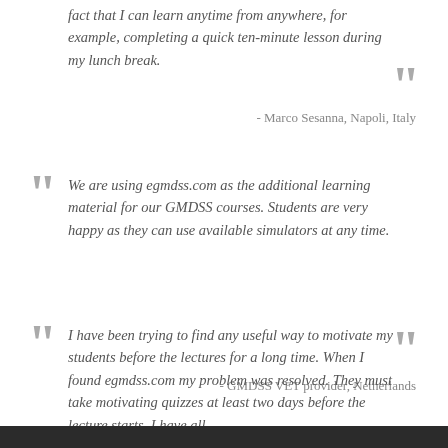fact that I can learn anytime from anywhere, for example, completing a quick ten-minute lesson during my lunch break.
- Marco Sesanna, Napoli, Italy
We are using egmdss.com as the additional learning material for our GMDSS courses. Students are very happy as they can use available simulators at any time.
- GMDSS VET provider, Netherlands
I have been trying to find any useful way to motivate my students before the lectures for a long time. When I found egmdss.com my problem was resolved. They must take motivating quizzes at least two days before the lecture starts. I have all